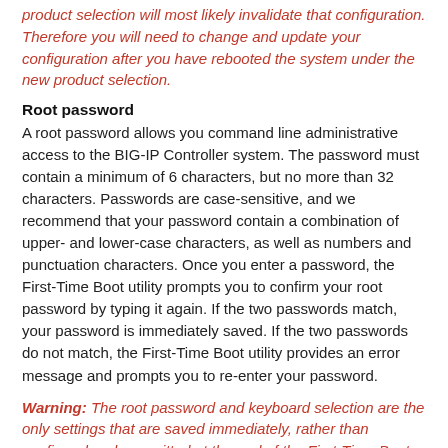product selection will most likely invalidate that configuration. Therefore you will need to change and update your configuration after you have rebooted the system under the new product selection.
Root password
A root password allows you command line administrative access to the BIG-IP Controller system. The password must contain a minimum of 6 characters, but no more than 32 characters. Passwords are case-sensitive, and we recommend that your password contain a combination of upper- and lower-case characters, as well as numbers and punctuation characters. Once you enter a password, the First-Time Boot utility prompts you to confirm your root password by typing it again. If the two passwords match, your password is immediately saved. If the two passwords do not match, the First-Time Boot utility provides an error message and prompts you to re-enter your password.
Warning: The root password and keyboard selection are the only settings that are saved immediately, rather than confirmed and committed at the end of the First-Time Boot utility process.